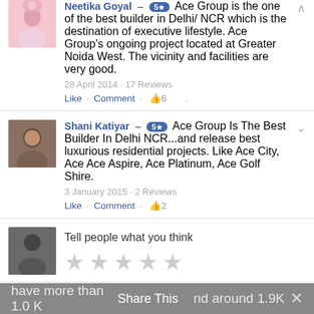Neetika Goyal – 5★ Ace Group is the one of the best builder in Delhi/ NCR which is the destination of executive lifestyle. Ace Group's ongoing project located at Greater Noida West. The vicinity and facilities are very good. 28 April 2014 · 17 Reviews Like · Comment · 👍6
Shani Katiyar – 5★ Ace Group Is The Best Builder In Delhi NCR...and release best luxurious residential projects. Like Ace City, Ace Ace Aspire, Ace Platinum, Ace Golf Shire. 3 January 2015 · 2 Reviews Like · Comment · 👍2
Tell people what you think
Twitter: Their presence on Twitter is good. They have more than 1.0 K followers and around 1.9K